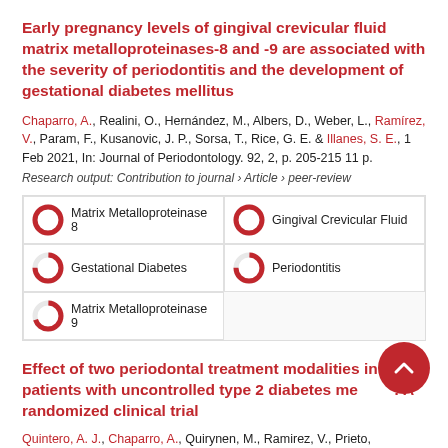Early pregnancy levels of gingival crevicular fluid matrix metalloproteinases-8 and -9 are associated with the severity of periodontitis and the development of gestational diabetes mellitus
Chaparro, A., Realini, O., Hernández, M., Albers, D., Weber, L., Ramírez, V., Param, F., Kusanovic, J. P., Sorsa, T., Rice, G. E. & Illanes, S. E., 1 Feb 2021, In: Journal of Periodontology. 92, 2, p. 205-215 11 p.
Research output: Contribution to journal › Article › peer-review
[Figure (infographic): Five keyword badges with donut-style percentage icons: Matrix Metalloproteinase 8 (100%), Gingival Crevicular Fluid (100%), Gestational Diabetes (~75%), Periodontitis (~75%), Matrix Metalloproteinase 9 (~70%)]
Effect of two periodontal treatment modalities in patients with uncontrolled type 2 diabetes mellitus: A randomized clinical trial
Quintero, A. J., Chaparro, A., Quirynen, M., Ramirez, V., Prieto,